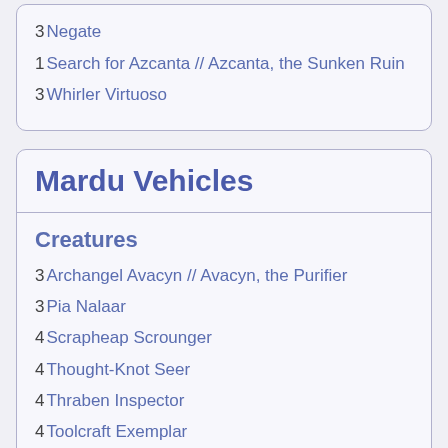3 Negate
1 Search for Azcanta // Azcanta, the Sunken Ruin
3 Whirler Virtuoso
Mardu Vehicles
Creatures
3 Archangel Avacyn // Avacyn, the Purifier
3 Pia Nalaar
4 Scrapheap Scrounger
4 Thought-Knot Seer
4 Thraben Inspector
4 Toolcraft Exemplar
2 Walking Ballista